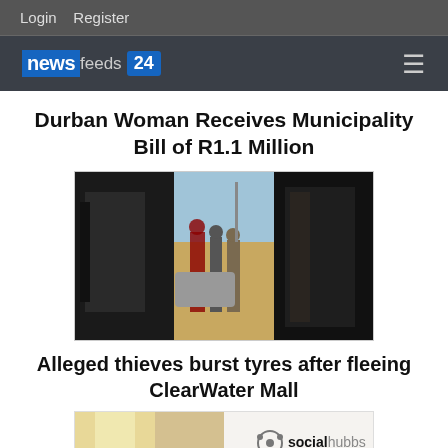Login   Register
[Figure (logo): newsfeeds 24 logo on dark header bar with hamburger menu icon]
Durban Woman Receives Municipality Bill of R1.1 Million
[Figure (photo): Three-panel photo showing people standing near a car in a parking lot or outdoor area]
Alleged thieves burst tyres after fleeing ClearWater Mall
[Figure (photo): Partial image showing a woman's blonde hair on the left and socialhubbs logo on the right]